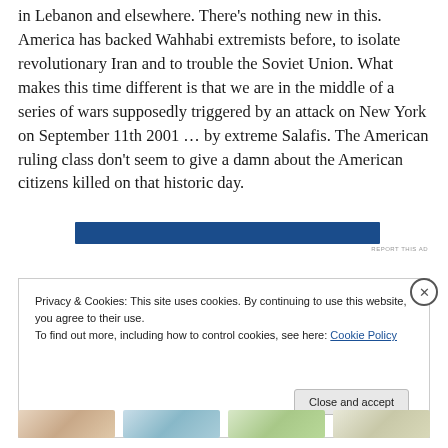in Lebanon and elsewhere. There's nothing new in this. America has backed Wahhabi extremists before, to isolate revolutionary Iran and to trouble the Soviet Union. What makes this time different is that we are in the middle of a series of wars supposedly triggered by an attack on New York on September 11th 2001 … by extreme Salafis. The American ruling class don't seem to give a damn about the American citizens killed on that historic day.
[Figure (other): Advertisement banner — solid dark blue horizontal rectangle]
Privacy & Cookies: This site uses cookies. By continuing to use this website, you agree to their use.
To find out more, including how to control cookies, see here: Cookie Policy
Close and accept